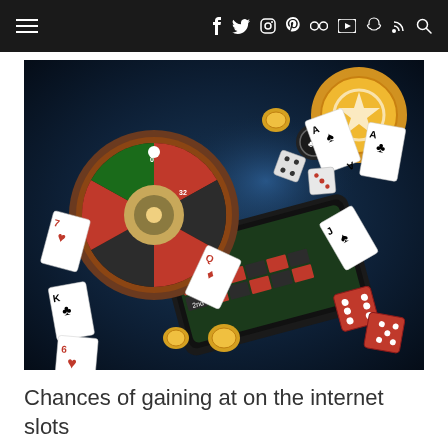≡  f  tw  ig  ℗  ⊡  ▶  👻  RSS  🔍
[Figure (photo): Online casino themed 3D render: a smartphone displaying a roulette table layout, surrounded by flying playing cards, dice, poker chips, and a roulette wheel emerging from the screen against a dark blue background.]
Chances of gaining at on the internet slots